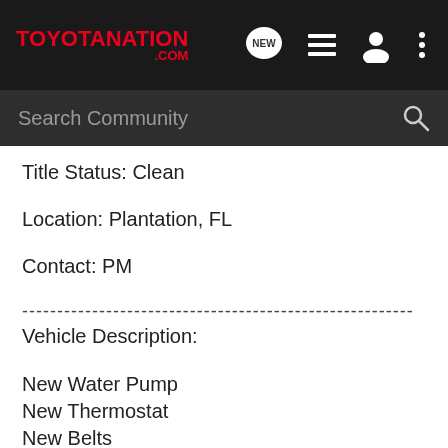[Figure (screenshot): ToyotaNation.com website navigation bar with logo, NEW message icon, list icon, user icon, and more options icon]
[Figure (screenshot): Search Community search bar with magnifying glass icon on dark background]
Title Status: Clean
Location: Plantation, FL
Contact: PM
--------------------------------------------------------
Vehicle Description:
New Water Pump
New Thermostat
New Belts
New 02 Sensor (front)
New A/C Compressor
New Washer Pump